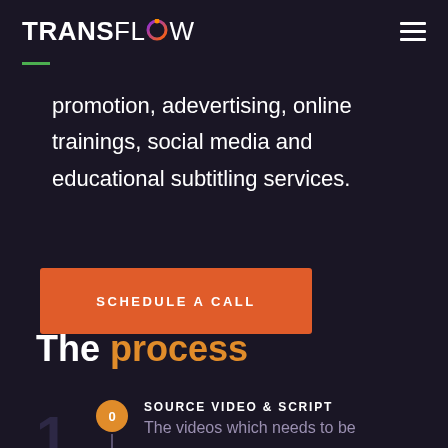TRANSFLOW
promotion, adevertising, online trainings, social media and educational subtitling services.
SCHEDULE A CALL
The process
SOURCE VIDEO & SCRIPT
The videos which needs to be